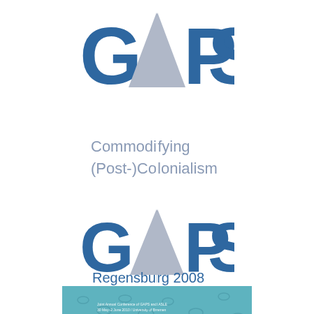[Figure (logo): GAPS logo — large blue letters G A P S with an inverted grey triangle replacing the letter A, top of page]
Commodifying
(Post-)Colonialism
[Figure (logo): GAPS logo — large blue letters G A P S with an inverted grey triangle replacing the letter A, middle of page]
Regensburg 2008
[Figure (photo): Book cover showing teal/blue background with small oval shapes (cells or organisms), text 'Joint Annual Conference of GAPS and ASLE, 30 May–2 June 2010 / University of Bremen' and partial title 'Postcolonial Oceans']